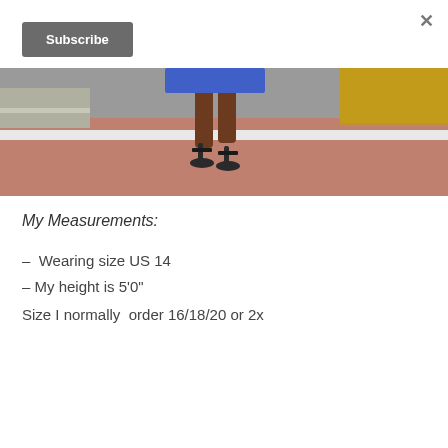[Figure (photo): Photo of a person's legs and feet wearing high heel sandals, standing on a red/pink pavement near a white line, wearing a blue dress, with a yellow vehicle in the background.]
My Measurements:
–  Wearing size US 14
– My height is 5'0"
Size I normally  order 16/18/20 or 2x